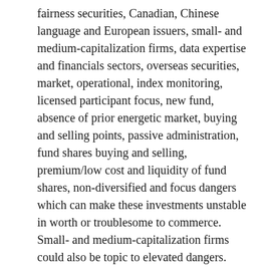fairness securities, Canadian, Chinese language and European issuers, small- and medium-capitalization firms, data expertise and financials sectors, overseas securities, market, operational, index monitoring, licensed participant focus, new fund, absence of prior energetic market, buying and selling points, passive administration, fund shares buying and selling, premium/low cost and liquidity of fund shares, non-diversified and focus dangers which can make these investments unstable in worth or troublesome to commerce. Small- and medium-capitalization firms could also be topic to elevated dangers.
Digital asset miners and different {hardware} mandatory for digital asset mining are topic to the chance of malfunction, technological obsolescence, the worldwide provide chain points and problem and value in acquiring new {hardware}. Malfunction can also be a set of